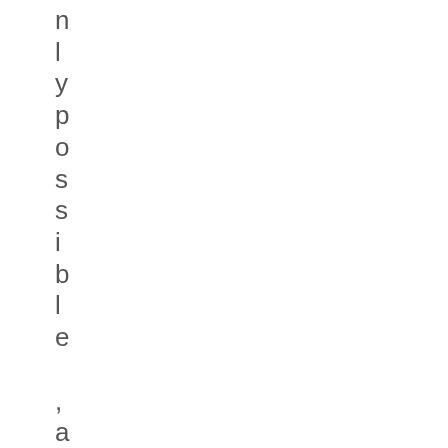nlypossibl e,and well-within th